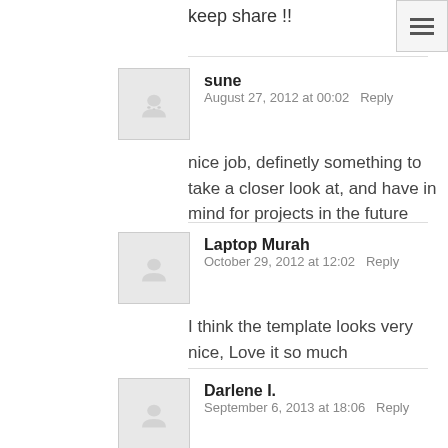keep share !!
sune
August 27, 2012 at 00:02  Reply
nice job, definetly something to take a closer look at, and have in mind for projects in the future
Laptop Murah
October 29, 2012 at 12:02  Reply
I think the template looks very nice, Love it so much
Darlene I.
September 6, 2013 at 18:06  Reply